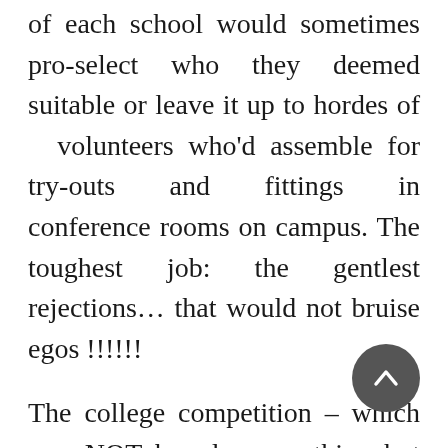of each school would sometimes pro-select who they deemed suitable or leave it up to hordes of volunteers who'd assemble for try-outs and fittings in conference rooms on campus. The toughest job: the gentlest rejections… that would not bruise egos !!!!!!
The college competition – which was NOT based on anything but accomplishment – be it in writing, illustrating, or fashion – spawned many extraordinary talents, who went on to major careers.
As attending college became more and more the norm, no longer an elitist group